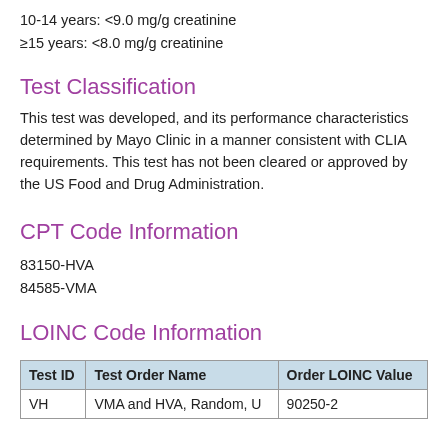10-14 years: <9.0 mg/g creatinine
≥15 years: <8.0 mg/g creatinine
Test Classification
This test was developed, and its performance characteristics determined by Mayo Clinic in a manner consistent with CLIA requirements. This test has not been cleared or approved by the US Food and Drug Administration.
CPT Code Information
83150-HVA
84585-VMA
LOINC Code Information
| Test ID | Test Order Name | Order LOINC Value |
| --- | --- | --- |
| VH | VMA and HVA, Random, U | 90250-2 |